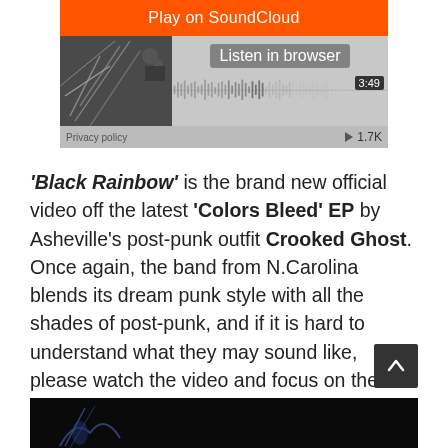[Figure (screenshot): SoundCloud embedded player widget with orange 'Play on SoundCloud' button, 'Listen in browser' label, waveform, timer showing 3:49, privacy policy link, and play count 1.7K]
'Black Rainbow' is the brand new official video off the latest 'Colors Bleed' EP by Asheville's post-punk outfit Crooked Ghost. Once again, the band from N.Carolina blends its dream punk style with all the shades of post-punk, and if it is hard to understand what they may sound like, please watch the video and focus on their music!!!
[Figure (screenshot): Bottom strip showing a dark video thumbnail with a silhouette figure]